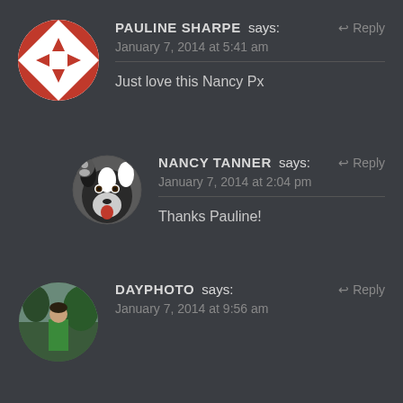[Figure (illustration): Circular avatar with red/white geometric snowflake-like pattern for Pauline Sharpe]
PAULINE SHARPE says:
January 7, 2014 at 5:41 am
Just love this Nancy Px
[Figure (photo): Circular avatar showing a black and white border collie dog for Nancy Tanner]
NANCY TANNER says:
January 7, 2014 at 2:04 pm
Thanks Pauline!
[Figure (photo): Circular avatar showing a person in a green shirt outdoors for Dayphoto]
DAYPHOTO says:
January 7, 2014 at 9:56 am